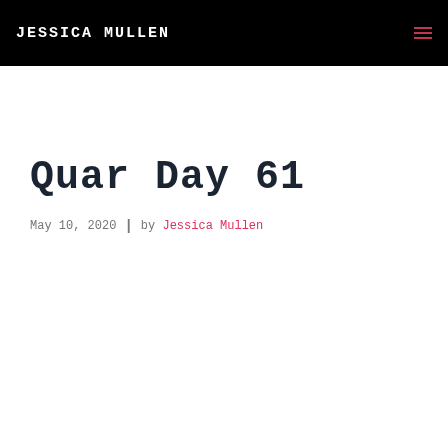JESSICA MULLEN
Quar Day 61
May 10, 2020 | by Jessica Mullen